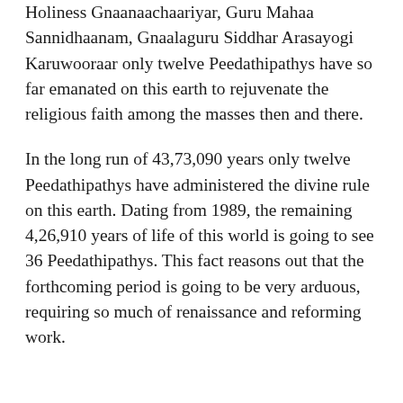Holiness Gnaanaachaariyar, Guru Mahaa Sannidhaanam, Gnaalaguru Siddhar Arasayogi Karuwooraar only twelve Peedathipathys have so far emanated on this earth to rejuvenate the religious faith among the masses then and there.
In the long run of 43,73,090 years only twelve Peedathipathys have administered the divine rule on this earth. Dating from 1989, the remaining 4,26,910 years of life of this world is going to see 36 Peedathipathys. This fact reasons out that the forthcoming period is going to be very arduous, requiring so much of renaissance and reforming work.